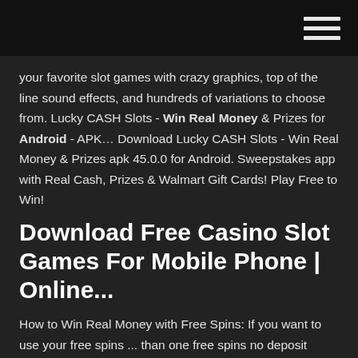[hamburger menu icon]
your favorite slot games with crazy graphics, top of the line sound effects, and hundreds of variations to choose from. Lucky CASH Slots - Win Real Money & Prizes for Android - APK… Download Lucky CASH Slots - Win Real Money & Prizes apk 45.0.0 for Android. Sweepstakes app with Real Cash, Prizes & Walmart Gift Cards! Play Free to Win!
Download Free Casino Slot Games For Mobile Phone | Online...
How to Win Real Money with Free Spins: If you want to use your free spins ... than one free spins no deposit bonus to play real money Slot games, continue reading . ...... free